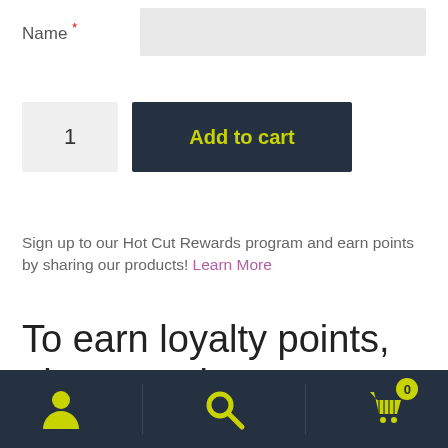Name *
1
Add to cart
Sign up to our Hot Cut Rewards program and earn points by sharing our products! Learn More
To earn loyalty points, please register an account or login.
[Figure (other): Bottom navigation bar with user/account icon, search icon, and cart icon with badge showing 0]